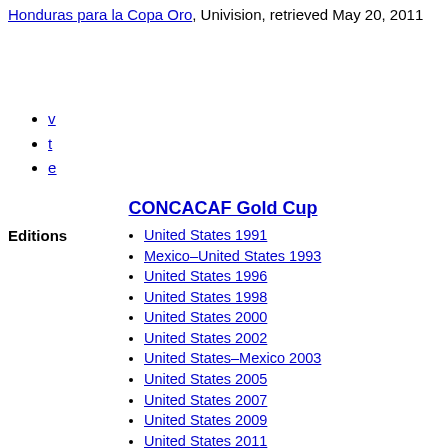Honduras para la Copa Oro, Univision, retrieved May 20, 2011
v
t
e
CONCACAF Gold Cup
United States 1991
Mexico–United States 1993
United States 1996
United States 1998
United States 2000
United States 2002
United States–Mexico 2003
United States 2005
United States 2007
United States 2009
United States 2011
United States 2013
United States–Canada 2015
United States 2017
United States–Costa Rica–Jamaica 2019
United States 2021
TBA 2023